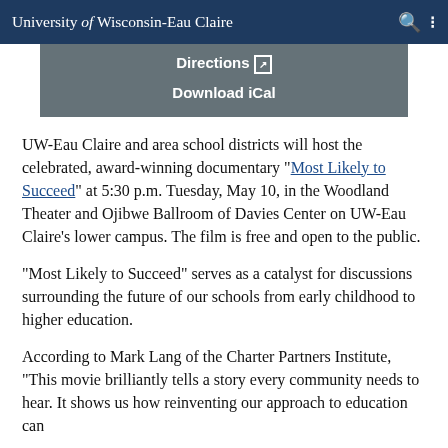University of Wisconsin-Eau Claire
[Figure (screenshot): Gray box with Directions link and Download iCal link]
UW-Eau Claire and area school districts will host the celebrated, award-winning documentary "Most Likely to Succeed" at 5:30 p.m. Tuesday, May 10, in the Woodland Theater and Ojibwe Ballroom of Davies Center on UW-Eau Claire's lower campus. The film is free and open to the public.
"Most Likely to Succeed" serves as a catalyst for discussions surrounding the future of our schools from early childhood to higher education.
According to Mark Lang of the Charter Partners Institute, "This movie brilliantly tells a story every community needs to hear. It shows us how reinventing our approach to education can